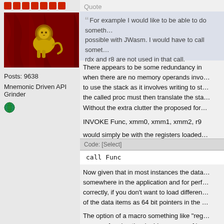[Figure (illustration): Red decorative blocks/bar icons at top of left column]
[Figure (photo): Avatar image showing a golden lion on red fabric background]
Posts: 9638
Mnemonic Driven API Grinder
[Figure (illustration): Globe/world icon]
Quote
For example I would like to be able to do something possible with JWasm. I would have to call something rdx and r8 are not used in that call.
There appears to be some redundancy in when there are no memory operands involved to use the stack as it involves writing to stack the called proc must then translate the stack Without the extra clutter the proposed form
INVOKE Func, xmm0, xmm1, xmm2, r9
would simply be with the registers loaded
Code: [Select]
call Func
Now given that in most instances the data somewhere in the application and for performance correctly, if you don't want to load different of the data items as 64 bit pointers in the
The option of a macro something like "reg were performing the double process of loading